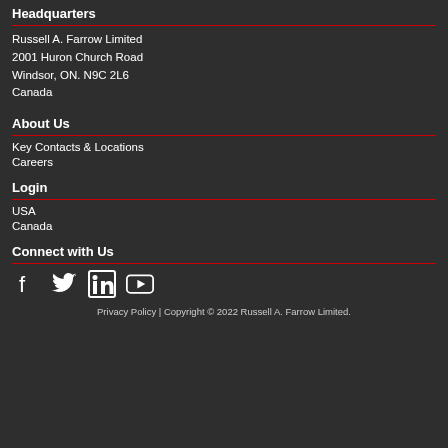Headquarters
Russell A. Farrow Limited
2001 Huron Church Road
Windsor, ON. N9C 2L6
Canada
About Us
Key Contacts & Locations
Careers
Login
USA
Canada
Connect with Us
[Figure (infographic): Social media icons: Facebook, Twitter, LinkedIn, YouTube]
Privacy Policy | Copyright © 2022 Russell A. Farrow Limited.